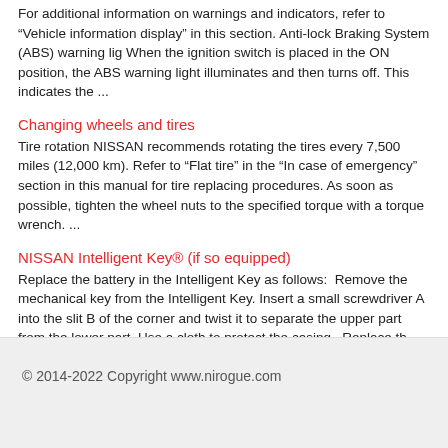For additional information on warnings and indicators, refer to “Vehicle information display” in this section. Anti-lock Braking System (ABS) warning lig When the ignition switch is placed in the ON position, the ABS warning light illuminates and then turns off. This indicates the ...
Changing wheels and tires
Tire rotation NISSAN recommends rotating the tires every 7,500 miles (12,000 km). Refer to “Flat tire” in the “In case of emergency” section in this manual for tire replacing procedures. As soon as possible, tighten the wheel nuts to the specified torque with a torque wrench. ...
NISSAN Intelligent Key® (if so equipped)
Replace the battery in the Intelligent Key as follows:  Remove the mechanical key from the Intelligent Key. Insert a small screwdriver A into the slit B of the corner and twist it to separate the upper part from the lower part. Use a cloth to protect the casing.  Replace th ...
© 2014-2022 Copyright www.nirogue.com